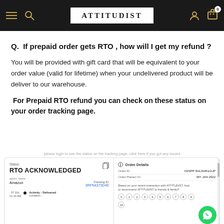ATTITUDIST
Q.  If prepaid order gets RTO , how will I get my refund ?
You will be provided with gift card that will be equivalent to your order value (valid for lifetime) when your undelivered product will be deliver to our warehouse.
For Prepaid RTO refund you can check on these status on your order tracking page.
[Figure (screenshot): Screenshot of order tracking page showing RTO ACKNOWLEDGED status, with order details panel showing Order ID, Order Placed On, and a customer feedback/NPS rating section with circles 0-10. A WhatsApp chat button appears in the bottom right.]